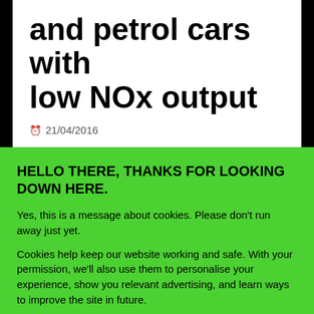and petrol cars with low NOx output
21/04/2016
HELLO THERE, THANKS FOR LOOKING DOWN HERE.
Yes, this is a message about cookies. Please don't run away just yet.
Cookies help keep our website working and safe. With your permission, we'll also use them to personalise your experience, show you relevant advertising, and learn ways to improve the site in future.
Manage cookie settings